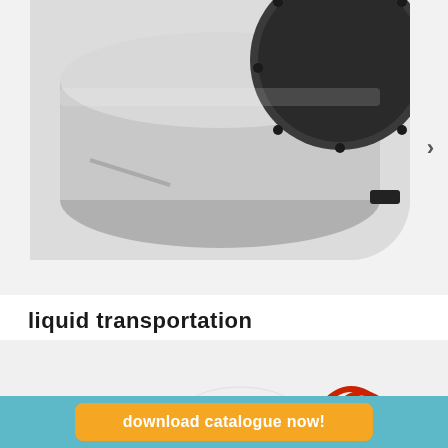[Figure (photo): Close-up photo of industrial hose reel or mechanical equipment, grey cylindrical component with dark circular end cap visible, shown on light grey background with rounded bottom-right corner]
liquid transportation
[Figure (photo): Product photo of a Coerco liquid transportation tank unit mounted on a flatbed skid. Large white oval tank with red hose reel and pipework on the left side, red ladder frame on the right side, galvanised steel skid base. Coerco logo visible on the tank body.]
download catalogue now!